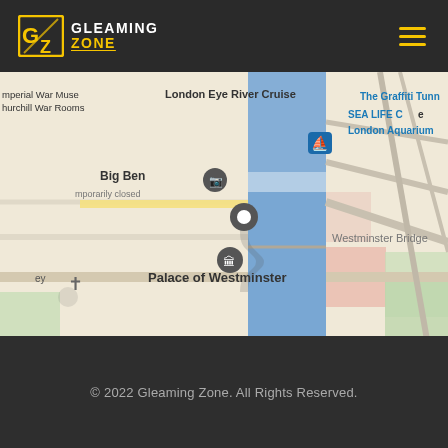[Figure (logo): Gleaming Zone logo with stylized GZ icon in gold/white on dark background]
[Figure (map): Google Maps screenshot showing central London area including Big Ben, Palace of Westminster, Westminster Bridge, London Eye River Cruise, SEA LIFE Centre, London Aquarium, The Graffiti Tunnel, Lambeth North tube station, Imperial War Museum, Churchill War Rooms]
© 2022 Gleaming Zone. All Rights Reserved.